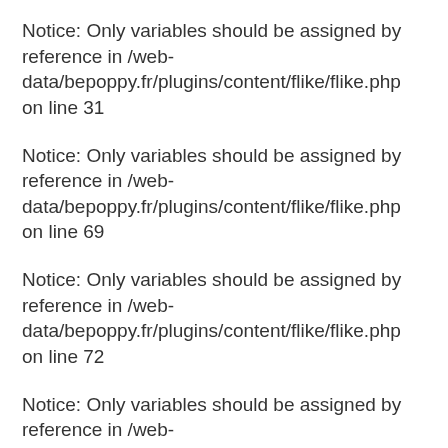Notice: Only variables should be assigned by reference in /web-data/bepoppy.fr/plugins/content/flike/flike.php on line 31
Notice: Only variables should be assigned by reference in /web-data/bepoppy.fr/plugins/content/flike/flike.php on line 69
Notice: Only variables should be assigned by reference in /web-data/bepoppy.fr/plugins/content/flike/flike.php on line 72
Notice: Only variables should be assigned by reference in /web-data/bepoppy.fr/plugins/content/flike/flike.php on line 85